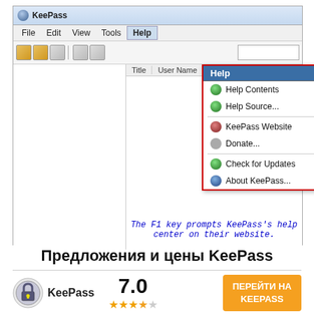[Figure (screenshot): KeePass application window showing Help menu expanded with options: Help Contents (F1), Help Source..., KeePass Website, Donate..., Check for Updates, About KeePass... The menu is highlighted with a red border. Below the screenshot, a caption in blue italic courier text reads: The F1 key prompts KeePass's help center on their website.]
The F1 key prompts KeePass's help center on their website.
Предложения и цены KeePass
[Figure (logo): KeePass logo (padlock icon) with text KeePass, rating 7.0, 3.5 stars, and orange CTA button ПЕРЕЙТИ НА KEEPASS]